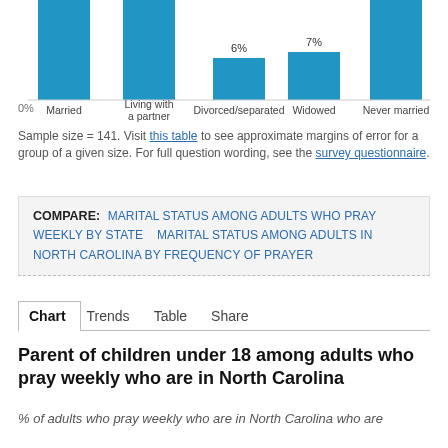[Figure (bar-chart): Marital status (partial, top of chart)]
Sample size = 141. Visit this table to see approximate margins of error for a group of a given size. For full question wording, see the survey questionnaire.
COMPARE: MARITAL STATUS AMONG ADULTS WHO PRAY WEEKLY BY STATE  MARITAL STATUS AMONG ADULTS IN NORTH CAROLINA BY FREQUENCY OF PRAYER
Chart  Trends  Table  Share
Parent of children under 18 among adults who pray weekly who are in North Carolina
% of adults who pray weekly who are in North Carolina who are